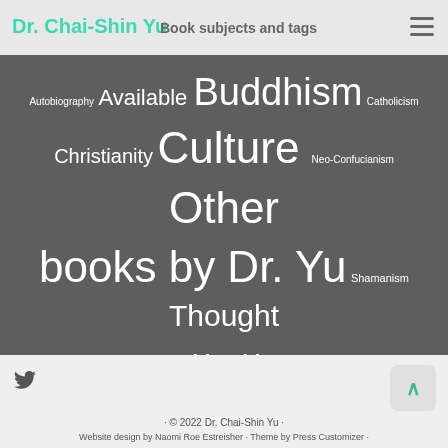Dr. Chai-Shin Yu — Book subjects and tags
[Figure (infographic): Tag cloud with words: Autobiography, Available, Buddhism, Catholicism, Christianity, Culture, Neo-Confucianism, Other books by Dr. Yu, Shamanism, Thought — in varying font sizes on dark grey background]
Dr. Chin-Shin Yu
dryu@chaishinyu.com
Follow @chaishinyu
raw steroids
Buy books from Dr. Yu
Click here for Order Form
· © 2022 Dr. Chai-Shin Yu · Website design by Naomi Roe Estreisher · Theme by Press Customizer ·